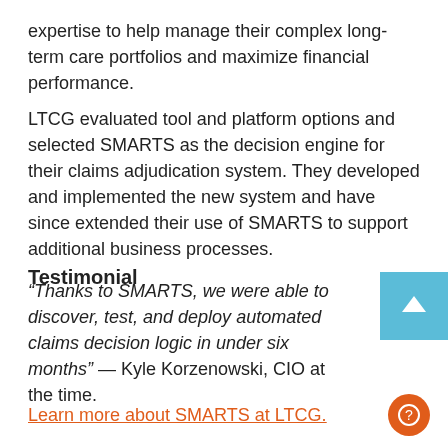expertise to help manage their complex long-term care portfolios and maximize financial performance.
LTCG evaluated tool and platform options and selected SMARTS as the decision engine for their claims adjudication system. They developed and implemented the new system and have since extended their use of SMARTS to support additional business processes.
Testimonial
“Thanks to SMARTS, we were able to discover, test, and deploy automated claims decision logic in under six months” — Kyle Korzenowski, CIO at the time.
Learn more about SMARTS at LTCG.